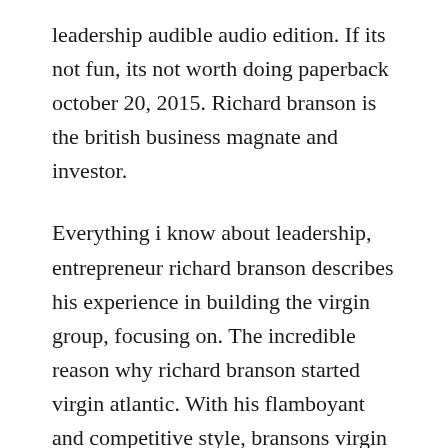leadership audible audio edition. If its not fun, its not worth doing paperback october 20, 2015. Richard branson is the british business magnate and investor.
Everything i know about leadership, entrepreneur richard branson describes his experience in building the virgin group, focusing on. The incredible reason why richard branson started virgin atlantic. With his flamboyant and competitive style, bransons virgin brand grew rapidly during the 1980s as he set up virgin atlantic airways and